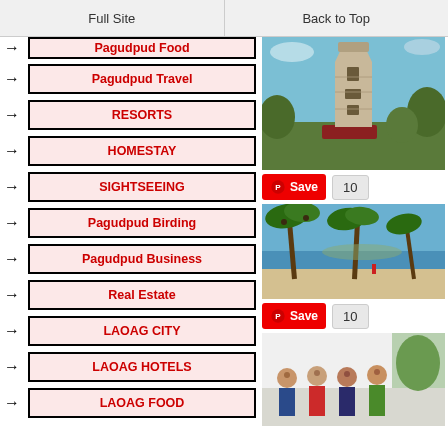Full Site | Back to Top
→ Pagudpud Food
→ Pagudpud Travel
→ RESORTS
→ HOMESTAY
→ SIGHTSEEING
→ Pagudpud Birding
→ Pagudpud Business
→ Real Estate
→ LAOAG CITY
→ LAOAG HOTELS
→ LAOAG FOOD
[Figure (photo): Old lighthouse tower with stone construction against blue sky with trees]
[Figure (photo): Tropical beach with palm trees, white sand, and blue ocean]
[Figure (photo): Interior hotel photo with group of people]